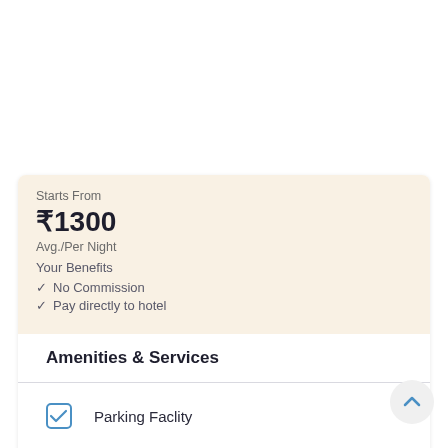Starts From
₹1300
Avg./Per Night
Your Benefits
✓ No Commission
✓ Pay directly to hotel
Amenities & Services
Parking Faclity
Hot Water
Family Friendly